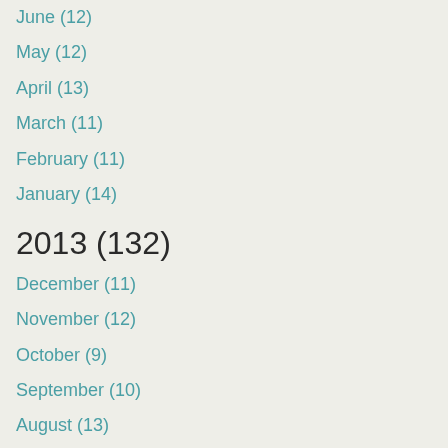June (12)
May (12)
April (13)
March (11)
February (11)
January (14)
2013 (132)
December (11)
November (12)
October (9)
September (10)
August (13)
July (10)
June (10)
May (12)